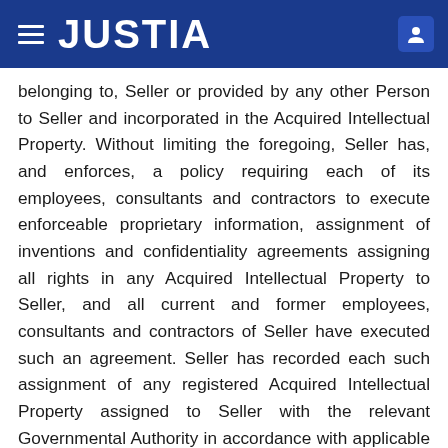JUSTIA
belonging to, Seller or provided by any other Person to Seller and incorporated in the Acquired Intellectual Property. Without limiting the foregoing, Seller has, and enforces, a policy requiring each of its employees, consultants and contractors to execute enforceable proprietary information, assignment of inventions and confidentiality agreements assigning all rights in any Acquired Intellectual Property to Seller, and all current and former employees, consultants and contractors of Seller have executed such an agreement. Seller has recorded each such assignment of any registered Acquired Intellectual Property assigned to Seller with the relevant Governmental Authority in accordance with applicable laws and regulations in each jurisdiction in which such assignment is required to be recorded. To the knowledge of Seller, no employee of Seller is obligated under any agreement or commitment, or